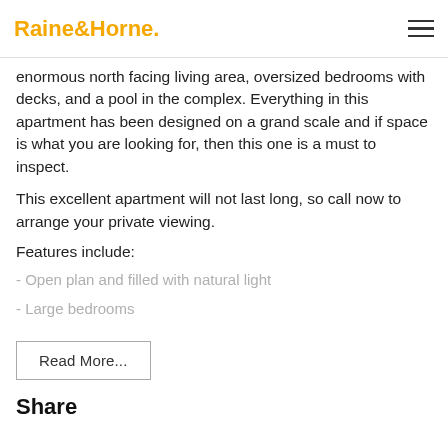Raine&Horne.
enormous north facing living area, oversized bedrooms with decks, and a pool in the complex. Everything in this apartment has been designed on a grand scale and if space is what you are looking for, then this one is a must to inspect.
This excellent apartment will not last long, so call now to arrange your private viewing.
Features include:
- Open plan and filled with natural light
- Large bedrooms
Read More...
Share